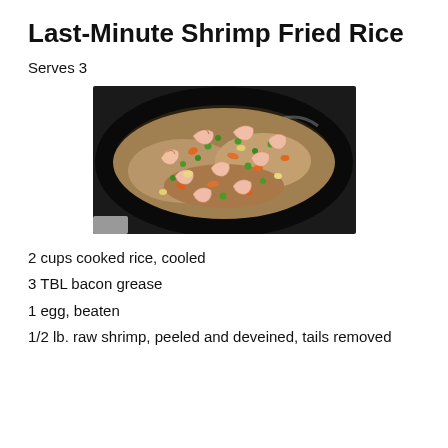Last-Minute Shrimp Fried Rice
Serves 3
[Figure (photo): A large black wok/skillet filled with shrimp fried rice containing shrimp, green peas, carrots, egg, and rice, photographed from above on a stovetop.]
2 cups cooked rice, cooled
3 TBL bacon grease
1 egg, beaten
1/2 lb. raw shrimp, peeled and deveined, tails removed